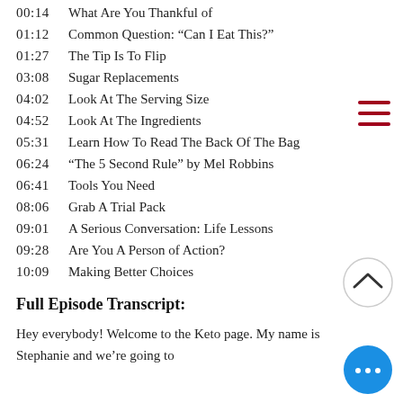00:14  What Are You Thankful of
01:12   Common Question: "Can I Eat This?"
01:27   The Tip Is To Flip
03:08   Sugar Replacements
04:02   Look At The Serving Size
04:52   Look At The Ingredients
05:31   Learn How To Read The Back Of The Bag
06:24   "The 5 Second Rule" by Mel Robbins
06:41   Tools You Need
08:06   Grab A Trial Pack
09:01   A Serious Conversation: Life Lessons
09:28   Are You A Person of Action?
10:09   Making Better Choices
Full Episode Transcript:
Hey everybody! Welcome to the Keto page. My name is Stephanie and we're going to